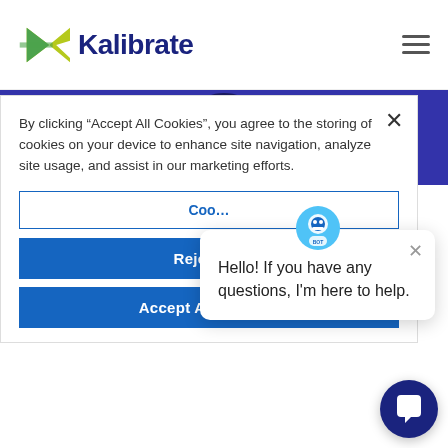[Figure (logo): Kalibrate logo with green/teal K icon and dark blue wordmark 'Kalibrate']
[Figure (illustration): Dark blue circle on blue hero banner with white checkmark checklist icon with lime green bars]
By clicking "Accept All Cookies", you agree to the storing of cookies on your device to enhance site navigation, analyze site usage, and assist in our marketing efforts.
Coo (Cookies Settings button, partially visible)
Reject All
Accept All Cookies
[Figure (illustration): Chat assistant avatar icon (small robot/bot face)]
Hello! If you have any questions, I'm here to help.
[Figure (illustration): Dark blue circular chat button with white speech bubble icon]